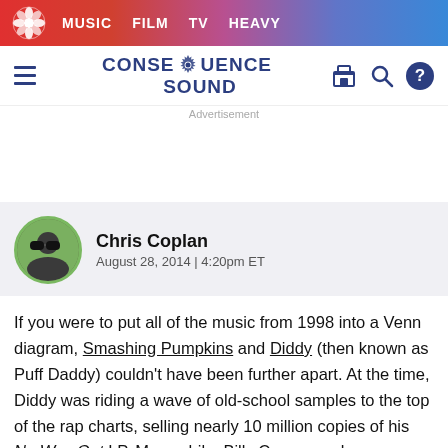MUSIC  FILM  TV  HEAVY
[Figure (logo): Consequence Sound website logo with gear icon, navigation hamburger menu, search and help icons]
Advertisement
Chris Coplan
August 28, 2014 | 4:20pm ET
If you were to put all of the music from 1998 into a Venn diagram, Smashing Pumpkins and Diddy (then known as Puff Daddy) couldn't have been further apart. At the time, Diddy was riding a wave of old-school samples to the top of the rap charts, selling nearly 10 million copies of his No Way Out LP. Meanwhile, Billy Corgan and co. were leaving